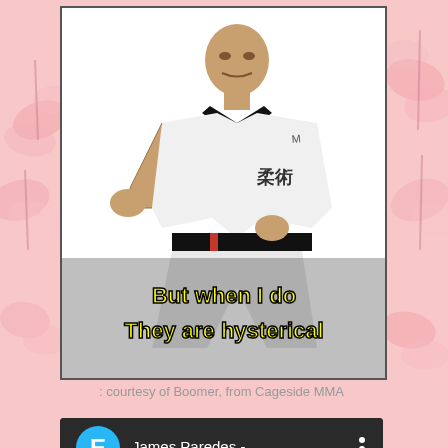[Figure (photo): Martial artist in white gi with black belt and Japanese characters, posed in fighting stance, with yellow meme text overlay reading 'But when I do They are hysterical']
courtesy of Boomer, from Cageside MMA
[Figure (screenshot): YouTube video player showing 'James Paredes - ...' with channel avatar E in blue circle, video thumbnail of two people in judo/jiu-jitsu grappling, play button visible]